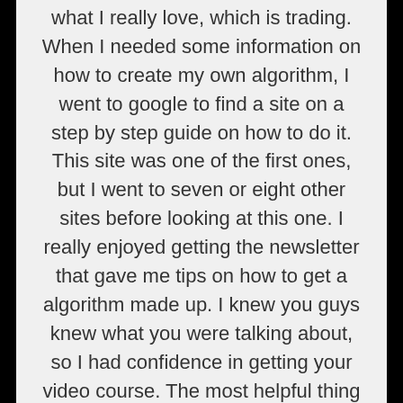what I really love, which is trading. When I needed some information on how to create my own algorithm, I went to google to find a site on a step by step guide on how to do it. This site was one of the first ones, but I went to seven or eight other sites before looking at this one. I really enjoyed getting the newsletter that gave me tips on how to get a algorithm made up. I knew you guys knew what you were talking about, so I had confidence in getting your video course. The most helpful thing for